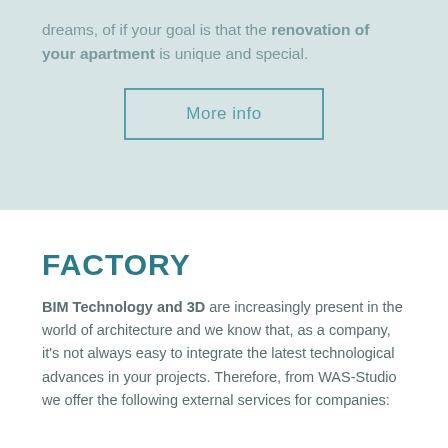dreams, of if your goal is that the renovation of your apartment is unique and special.
[Figure (other): A rectangular button with teal border and teal text reading 'More info']
FACTORY
BIM Technology and 3D are increasingly present in the world of architecture and we know that, as a company, it's not always easy to integrate the latest technological advances in your projects. Therefore, from WAS-Studio we offer the following external services for companies: